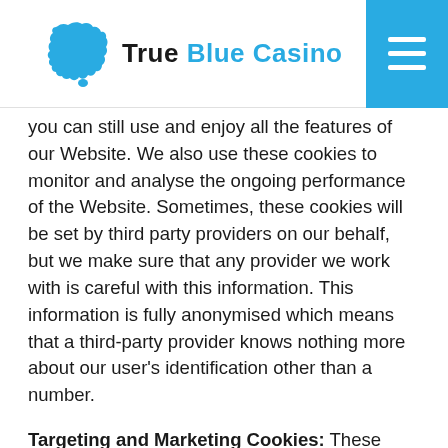True Blue Casino
you can still use and enjoy all the features of our Website. We also use these cookies to monitor and analyse the ongoing performance of the Website. Sometimes, these cookies will be set by third party providers on our behalf, but we make sure that any provider we work with is careful with this information. This information is fully anonymised which means that a third-party provider knows nothing more about our user's identification other than a number.
Targeting and Marketing Cookies: These cookies record your visit to our Website, the pages you have visited (including, in the case of interest-based advertising, the pages of other websites) and the links you have followed. We use this information to measure the effectiveness of our marketing and to improve the